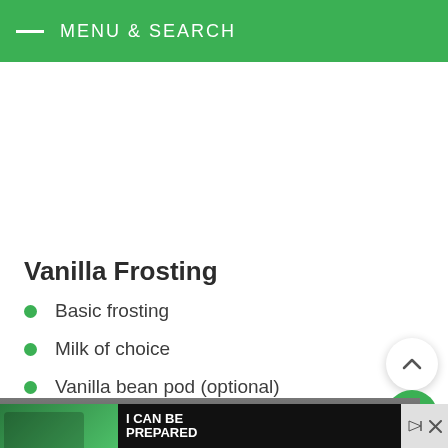MENU & SEARCH
Vanilla Frosting
Basic frosting
Milk of choice
Vanilla bean pod (optional)
[Figure (photo): Dark textured background image partially visible]
[Figure (advertisement): Ad banner showing two people laughing with text I CAN BE PREPARED]